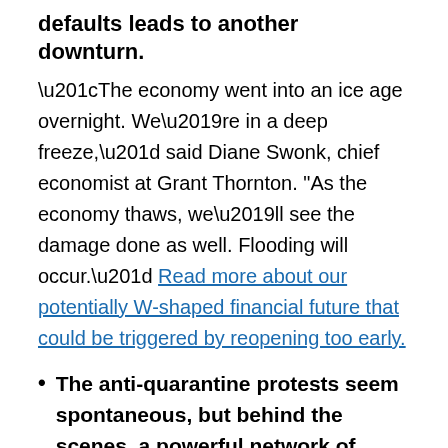defaults leads to another downturn.
“The economy went into an ice age overnight. We’re in a deep freeze,” said Diane Swonk, chief economist at Grant Thornton. "As the economy thaws, we’ll see the damage done as well. Flooding will occur.” Read more about our potentially W-shaped financial future that could be triggered by reopening too early.
The anti-quarantine protests seem spontaneous, but behind the scenes, a powerful network of right-leaning individuals and groups has helped